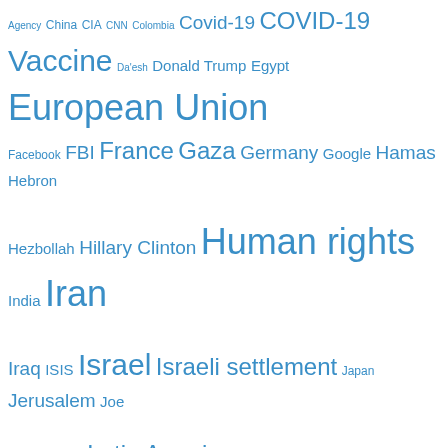[Figure (infographic): Tag cloud of news-related terms in varying font sizes and weights, all in blue. Terms include: Agency, China, CIA, CNN, Colombia, Covid-19, COVID-19 Vaccine, Da'esh, Donald Trump, Egypt, European Union, Facebook, FBI, France, Gaza, Germany, Google, Hamas, Hebron, Hezbollah, Hillary Clinton, Human rights, India, Iran, Iraq, ISIS, Israel, Israeli settlement, Japan, Jerusalem, Joe Biden, Korea, Latin America, Lebanon, Libya, Middle East, National Security Agency, NATO, New York Times, North Korea, NSA, Obama, Pakistan, Palestine, Qatar, Russia, Sanctions against Iran, Saudi Arabia, Syria, The Guardian, Turkey, Twitter, UAE, UK, Ukraine, United Nations, United States, USA, Venezuela, Washington Post, West Bank, Yemen, Zionism]